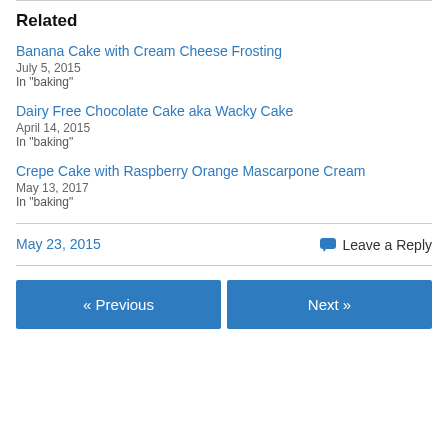Related
Banana Cake with Cream Cheese Frosting
July 5, 2015
In "baking"
Dairy Free Chocolate Cake aka Wacky Cake
April 14, 2015
In "baking"
Crepe Cake with Raspberry Orange Mascarpone Cream
May 13, 2017
In "baking"
May 23, 2015
Leave a Reply
« Previous
Next »